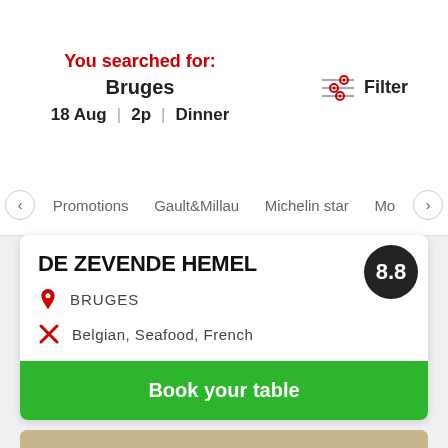You searched for:
Bruges
18 Aug | 2p | Dinner
Filter
Promotions
Gault&Millau
Michelin star
Mo
DE ZEVENDE HEMEL
8.8
BRUGES
Belgian, Seafood, French
Book your table
[Figure (photo): Exterior of a restaurant building with light-colored brick walls, large windows, and a blackboard sign reading Lunch €25.00]
8.8